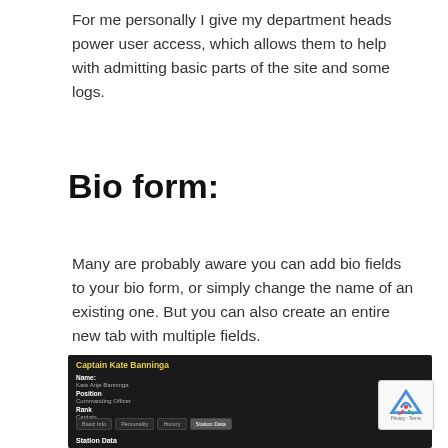For me personally I give my department heads power user access, which allows them to help with admitting basic parts of the site and some logs.
Bio form:
Many are probably aware you can add bio fields to your bio form, or simply change the name of an existing one. But you can also create an entire new tab with multiple fields.
[Figure (screenshot): Screenshot of a bio form interface showing 'Captain Kate Banninga' with fields: Name (Kate Anje Banninga), Position (Commanding Officer), Rank (Captain), with tabs: Basic Info, Personality, History, Station Data (active). Station Data section header visible at bottom.]